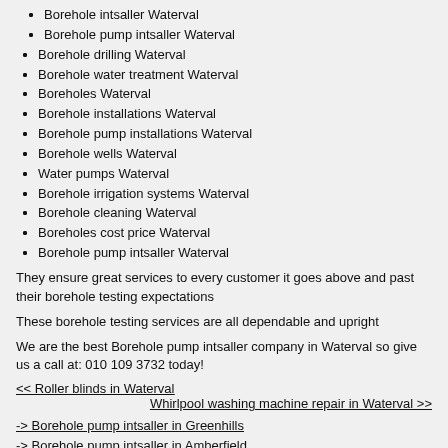Borehole intsaller Waterval
Borehole pump intsaller Waterval
Borehole drilling Waterval
Borehole water treatment Waterval
Boreholes Waterval
Borehole installations Waterval
Borehole pump installations Waterval
Borehole wells Waterval
Water pumps Waterval
Borehole irrigation systems Waterval
Borehole cleaning Waterval
Boreholes cost price Waterval
Borehole pump intsaller Waterval
They ensure great services to every customer it goes above and past their borehole testing expectations
These borehole testing services are all dependable and upright
We are the best Borehole pump intsaller company in Waterval so give us a call at: 010 109 3732 today!
<< Roller blinds in Waterval
Whirlpool washing machine repair in Waterval >>
-> Borehole pump intsaller in Greenhills
-> Borehole pump intsaller in Amberfield
-> Borehole pump intsaller in Ellis Park